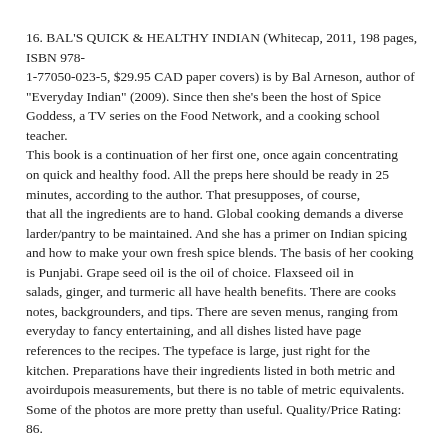16. BAL'S QUICK & HEALTHY INDIAN (Whitecap, 2011, 198 pages, ISBN 978-1-77050-023-5, $29.95 CAD paper covers) is by Bal Arneson, author of "Everyday Indian" (2009). Since then she's been the host of Spice Goddess, a TV series on the Food Network, and a cooking school teacher. This book is a continuation of her first one, once again concentrating on quick and healthy food. All the preps here should be ready in 25 minutes, according to the author. That presupposes, of course, that all the ingredients are to hand. Global cooking demands a diverse larder/pantry to be maintained. And she has a primer on Indian spicing and how to make your own fresh spice blends. The basis of her cooking is Punjabi. Grape seed oil is the oil of choice. Flaxseed oil in salads, ginger, and turmeric all have health benefits. There are cooks notes, backgrounders, and tips. There are seven menus, ranging from everyday to fancy entertaining, and all dishes listed have page references to the recipes. The typeface is large, just right for the kitchen. Preparations have their ingredients listed in both metric and avoirdupois measurements, but there is no table of metric equivalents. Some of the photos are more pretty than useful. Quality/Price Rating: 86.